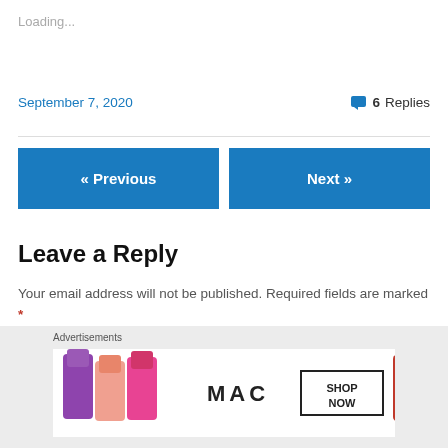Loading...
September 7, 2020
6 Replies
« Previous
Next »
Leave a Reply
Your email address will not be published. Required fields are marked *
Advertisements